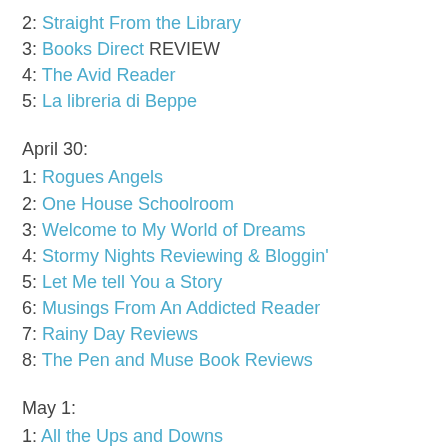2: Straight From the Library
3: Books Direct REVIEW
4: The Avid Reader
5: La libreria di Beppe
April 30:
1: Rogues Angels
2: One House Schoolroom
3: Welcome to My World of Dreams
4: Stormy Nights Reviewing & Bloggin'
5: Let Me tell You a Story
6: Musings From An Addicted Reader
7: Rainy Day Reviews
8: The Pen and Muse Book Reviews
May 1:
1: All the Ups and Downs
2: Books in the Hall
3: Author C.A.Milson
4: Sapphyria's Books
5: Harlie's Books
6: The Hidden Bookshelf Club